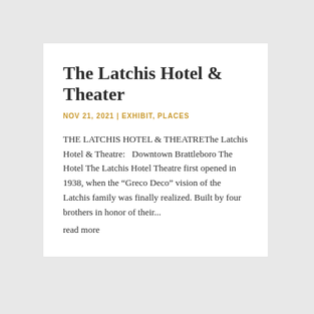The Latchis Hotel & Theater
NOV 21, 2021 | EXHIBIT, PLACES
THE LATCHIS HOTEL & THEATREThe Latchis Hotel & Theatre:   Downtown Brattleboro The Hotel The Latchis Hotel Theatre first opened in 1938, when the “Greco Deco” vision of the Latchis family was finally realized. Built by four brothers in honor of their...
read more